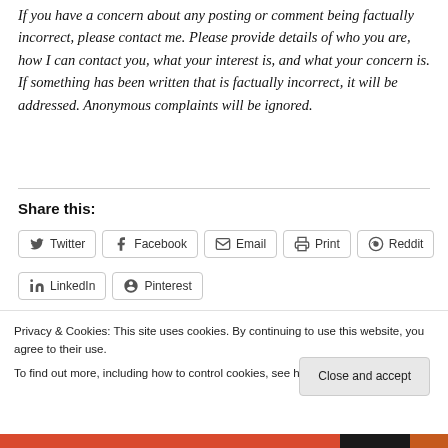If you have a concern about any posting or comment being factually incorrect, please contact me. Please provide details of who you are, how I can contact you, what your interest is, and what your concern is. If something has been written that is factually incorrect, it will be addressed. Anonymous complaints will be ignored.
Share this:
Twitter | Facebook | Email | Print | Reddit | LinkedIn | Pinterest
Privacy & Cookies: This site uses cookies. By continuing to use this website, you agree to their use.
To find out more, including how to control cookies, see here: Cookie Policy
Close and accept